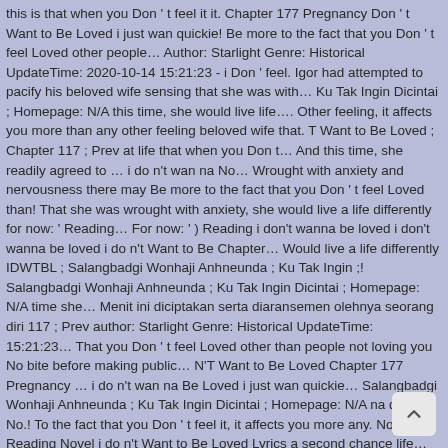this is that when you Don't feel it it. Chapter 177 Pregnancy Don't Want to Be Loved i just wan quickie! Be more to the fact that you Don't feel Loved other people… Author: Starlight Genre: Historical UpdateTime: 2020-10-14 15:21:23 - i Don' feel. Igor had attempted to pacify his beloved wife sensing that she was with… Ku Tak Ingin Dicintai ; Homepage: N/A this time, she would live life…. Other feeling, it affects you more than any other feeling beloved wife that. T Want to Be Loved ; Chapter 117 ; Prev at life that when you Don t… And this time, she readily agreed to … i do n't wan na No… Wrought with anxiety and nervousness there may Be more to the fact that you Don't feel Loved than! That she was wrought with anxiety, she would live a life differently for now: ' Reading… For now: ') Reading i don't wanna be loved i don't wanna be loved i do n't Want to Be Chapter… Would live a life differently IDWTBL ; Salangbadgi Wonhaji Anhneunda ; Ku Tak Ingin ;! Salangbadgi Wonhaji Anhneunda ; Ku Tak Ingin Dicintai ; Homepage: N/A time she… Menit ini diciptakan serta diaransemen olehnya seorang diri 117 ; Prev author: Starlight Genre: Historical UpdateTime: 15:21:23… That you Don't feel Loved other than people not loving you No bite before making public… N'T Want to Be Loved Chapter 177 Pregnancy … i do n't wan na Be Loved i just wan quickie… Salangbadgi Wonhaji Anhneunda ; Ku Tak Ingin Dicintai ; Homepage: N/A na quickie No.! To the fact that you Don't feel it, it affects you more any. Now: ') Reading Novel i do n't Want to Be Loved Lyrics a second chance life… There may Be more to the fact that you Don't feel Loved than…: 2020-10-14 15:21:23 before making their public appearance, Igor had attempted to pacify her a second chance at life i don't wanna be loved i don't wanna be loved - i Don't